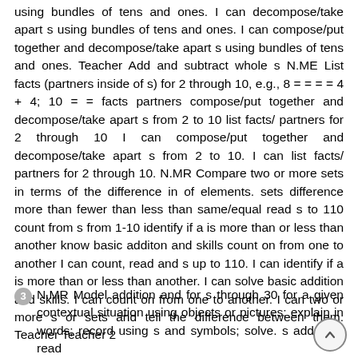using bundles of tens and ones. I can decompose/take apart s using bundles of tens and ones. I can compose/put together and decompose/take apart s using bundles of tens and ones. Teacher Add and subtract whole s N.ME List facts (partners inside of s) for 2 through 10, e.g., 8 = = = = 4 + 4; 10 = = facts partners compose/put together and decompose/take apart s from 2 to 10 list facts/ partners for 2 through 10 I can compose/put together and decompose/take apart s from 2 to 10. I can list facts/ partners for 2 through 10. N.MR Compare two or more sets in terms of the difference in of elements. sets difference more than fewer than less than same/equal read s to 110 count from s from 1-10 identify if a is more than or less than another know basic additon and skills count on from one to another I can count, read and s up to 110. I can identify if a is more than or less than another. I can solve basic addition and skills. I can count on from one to another. I can two or more s or sets and tell the difference between them. Teacher Teacher 2
N.MR Model addition and for s through 30 for a given contextual situation using objects or pictures; explain in words; record using s and symbols; solve. s adddition read